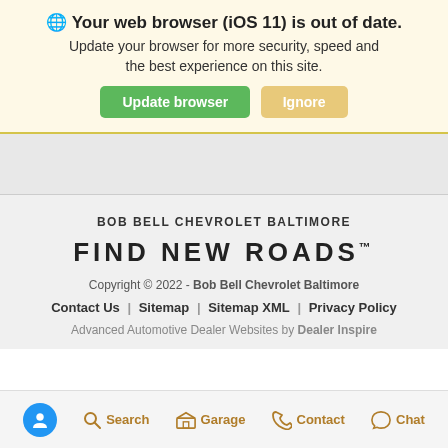🌐 Your web browser (iOS 11) is out of date.
Update your browser for more security, speed and the best experience on this site.
Update browser | Ignore
BOB BELL CHEVROLET BALTIMORE
FIND NEW ROADS™
Copyright © 2022 - Bob Bell Chevrolet Baltimore
Contact Us | Sitemap | Sitemap XML | Privacy Policy
Advanced Automotive Dealer Websites by Dealer Inspire
🔵 Accessibility  🔍 Search  🏠 Garage  📞 Contact  💬 Chat